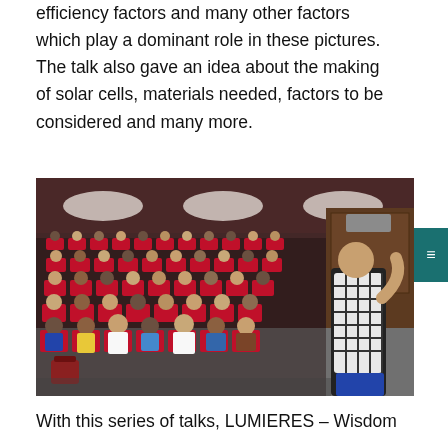efficiency factors and many other factors which play a dominant role in these pictures. The talk also gave an idea about the making of solar cells, materials needed, factors to be considered and many more.
[Figure (photo): A speaker in a checkered shirt addressing a large audience of students seated in red auditorium chairs in a lecture hall. The hall has recessed ceiling lights and the audience faces toward the front.]
With this series of talks, LUMIERES – Wisdom